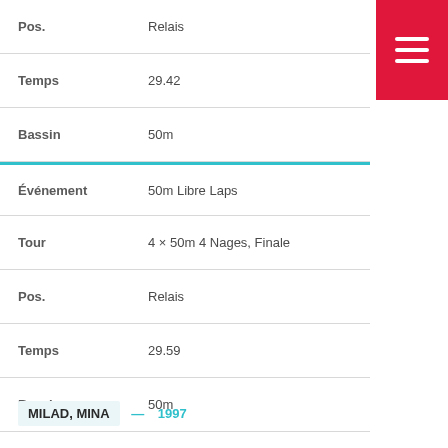| Field | Value |
| --- | --- |
| Pos. | Relais |
| Temps | 29.42 |
| Bassin | 50m |
| Événement | 50m Libre Laps |
| Tour | 4 × 50m 4 Nages, Finale |
| Pos. | Relais |
| Temps | 29.59 |
| Bassin | 50m |
MILAD, MINA — 1997